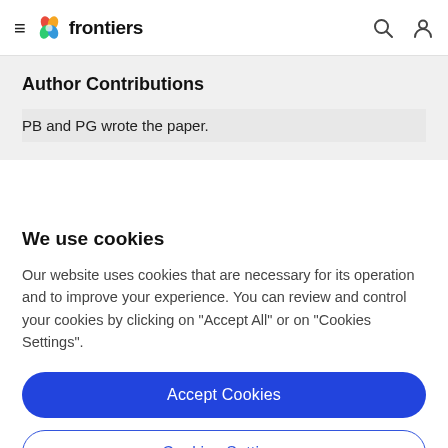frontiers
Author Contributions
PB and PG wrote the paper.
We use cookies
Our website uses cookies that are necessary for its operation and to improve your experience. You can review and control your cookies by clicking on "Accept All" or on "Cookies Settings".
Accept Cookies
Cookies Settings